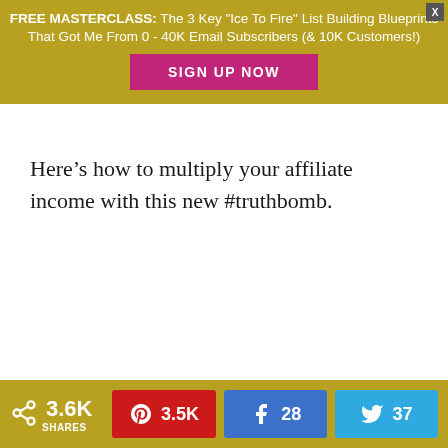FREE MASTERCLASS: The 3 Key "Ice To Fire" List Building Blueprints That Got Me From 0 - 40K Email Subscribers (& 10K Customers!)
Here’s how to multiply your affiliate income with this new #truthbomb.
3.6K SHARES  |  Pinterest: 3.5K  |  Facebook: 28  |  Twitter: 37